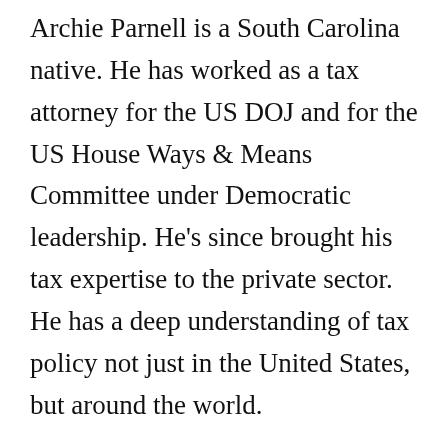Archie Parnell is a South Carolina native. He has worked as a tax attorney for the US DOJ and for the US House Ways & Means Committee under Democratic leadership. He's since brought his tax expertise to the private sector. He has a deep understanding of tax policy not just in the United States, but around the world.
He wants to use his expertise to serve in Congress as an advocate for closing tax loopholes that help corporations, and using the savings to cut taxes for families and businesses that attract jobs to South Carolina